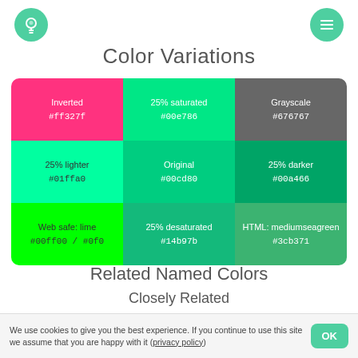[Figure (illustration): Light bulb icon in a teal circle (top left) and hamburger menu icon in a teal circle (top right)]
Color Variations
| Inverted | 25% saturated | Grayscale |
| --- | --- | --- |
| #ff327f | #00e786 | #676767 |
| 25% lighter
#01ffa0 | Original
#00cd80 | 25% darker
#00a466 |
| Web safe: lime
#00ff00 / #0f0 | 25% desaturated
#14b97b | HTML: mediumseagreen
#3cb371 |
Related Named Colors
Closely Related
We use cookies to give you the best experience. If you continue to use this site we assume that you are happy with it (privacy policy)